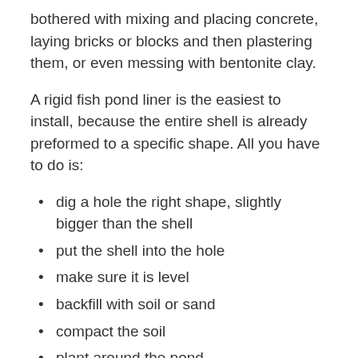bothered with mixing and placing concrete, laying bricks or blocks and then plastering them, or even messing with bentonite clay.
A rigid fish pond liner is the easiest to install, because the entire shell is already preformed to a specific shape. All you have to do is:
dig a hole the right shape, slightly bigger than the shell
put the shell into the hole
make sure it is level
backfill with soil or sand
compact the soil
plant around the pond